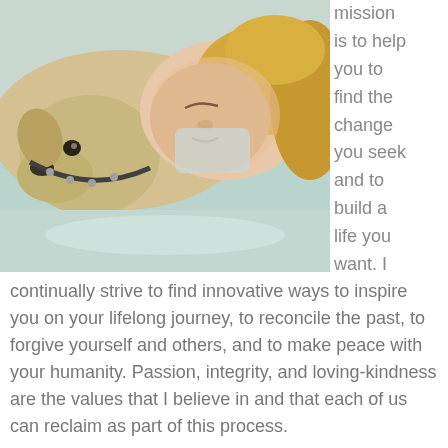[Figure (photo): Woman with blonde hair lying face-to-face with a golden/yellow Labrador dog on a light blue surface, both eyes closed, an intimate and peaceful moment.]
mission is to help you to find the change you seek and to build a life you want. I continually strive to find innovative ways to inspire you on your lifelong journey, to reconcile the past, to forgive yourself and others, and to make peace with your humanity. Passion, integrity, and loving-kindness are the values that I believe in and that each of us can reclaim as part of this process.
I create a safe space where you can feel free to explore as much or as little of yourself as you want. Because I am experienced with a variety of powerful therapy options in depression treatment for us to choose from, we can select the most effective treatments